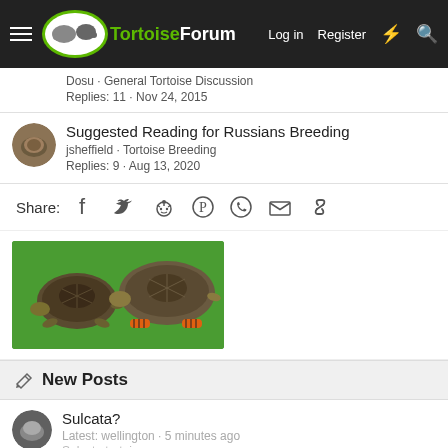TortoiseForum — Log in  Register
Dosu · General Tortoise Discussion
Replies: 11 · Nov 24, 2015
Suggested Reading for Russians Breeding
jsheffield · Tortoise Breeding
Replies: 9 · Aug 13, 2020
Share:
[Figure (photo): Two turtles side by side on a green background — one smaller with dark shell on left, one larger with orange-striped legs on right]
New Posts
Sulcata?
Latest: wellington · 5 minutes ago
Sulcata tortoises